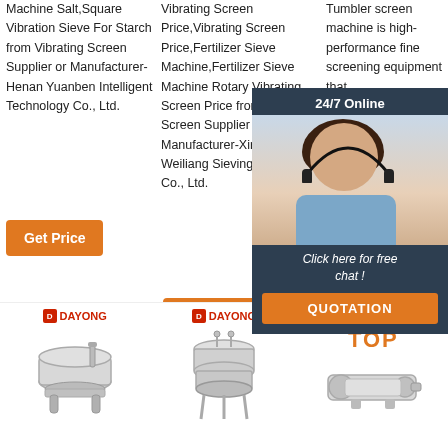Machine Salt,Square Vibration Sieve For Starch from Vibrating Screen Supplier or Manufacturer-Henan Yuanben Intelligent Technology Co., Ltd.
Vibrating Screen Price,Vibrating Screen Price,Fertilizer Sieve Machine,Fertilizer Sieve Machine Rotary Vibrating Screen Price from Vibrating Screen Supplier or Manufacturer-Xinxiang Weiliang Sieving Machinery Co., Ltd.
Tumbler screen machine is high-performance fine screening equipment that ...
Get Price
Get Price
G...
[Figure (infographic): Chat overlay with woman wearing headset, dark blue background, 24/7 Online header, Click here for free chat! text, and orange QUOTATION button]
[Figure (photo): DAYONG brand product - small vibrating sieve machine, round stainless steel with handle]
[Figure (photo): DAYONG brand product - vibrating screen/sieve machine, cylindrical stainless steel]
[Figure (logo): TOP logo with orange dots above, orange text TOP]